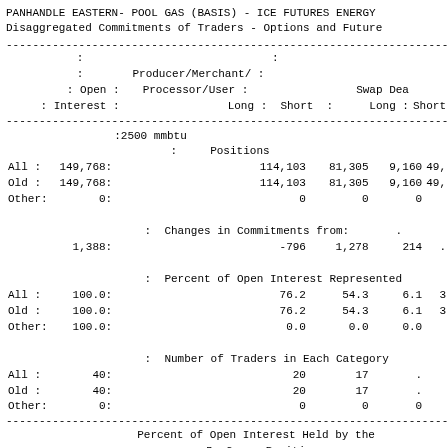PANHANDLE EASTERN- POOL GAS (BASIS) - ICE FUTURES ENERGY
Disaggregated Commitments of Traders - Options and Future
|  | Open Interest | Producer/Merchant/Processor/User Long | Producer/Merchant/Processor/User Short | Long | Short (Swap Dea) |
| --- | --- | --- | --- | --- | --- |
| :2500 mmbtu |  |  |  |  |  |
|  | Positions |  |  |  |  |
| All : | 149,768: | 114,103 | 81,305 | 9,160 | 49, |
| Old : | 149,768: | 114,103 | 81,305 | 9,160 | 49, |
| Other: | 0: | 0 | 0 | 0 |  |
|  | Changes in Commitments from: |  |  |  |  |
|  | 1,388: | -796 | 1,278 | 214 |  |
|  | Percent of Open Interest Represented |  |  |  |  |
| All : | 100.0: | 76.2 | 54.3 | 6.1 | 3 |
| Old : | 100.0: | 76.2 | 54.3 | 6.1 | 3 |
| Other: | 100.0: | 0.0 | 0.0 | 0.0 |  |
|  | Number of Traders in Each Category |  |  |  |  |
| All : | 40: | 20 | 17 | . |  |
| Old : | 40: | 20 | 17 | . |  |
| Other: | 0: | 0 | 0 | 0 |  |
|  | Percent of Open Interest Held by the |  |  |  |  |
|  | By Gross Position |  |  |  |  |
|  | 4 or Less Traders | 8 or Less Tra |  |  |  |